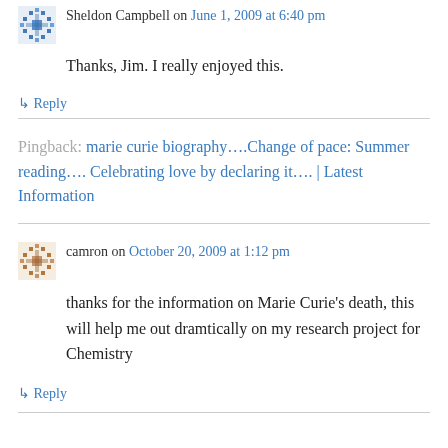Sheldon Campbell on June 1, 2009 at 6:40 pm
Thanks, Jim. I really enjoyed this.
↳ Reply
Pingback: marie curie biography….Change of pace: Summer reading…. Celebrating love by declaring it…. | Latest Information
camron on October 20, 2009 at 1:12 pm
thanks for the information on Marie Curie's death, this will help me out dramtically on my research project for Chemistry
↳ Reply